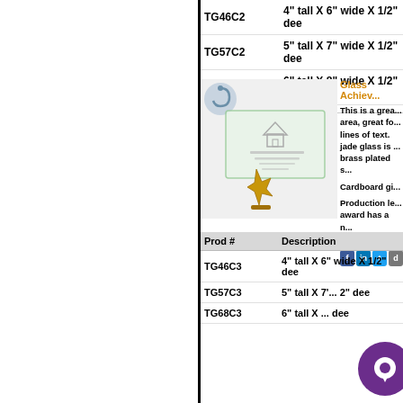| Prod # | Description |
| --- | --- |
| TG46C2 | 4" tall X 6" wide X 1/2" dee... |
| TG57C2 | 5" tall X 7" wide X 1/2" dee... |
| TG68C2 | 6" tall X 8" wide X 1/2" dee... |
[Figure (photo): Glass achievement award with gold star base on grey background]
Glass Achiev...
This is a great area, great for lines of text. jade glass is brass plated s...
Cardboard gi...
Production le... award has a n...
Share this Aw...
| Prod # | Description |
| --- | --- |
| TG46C3 | 4" tall X 6" wide X 1/2" dee... |
| TG57C3 | 5" tall X 7'... 2" dee... |
| TG68C3 | 6" tall X ... dee... |